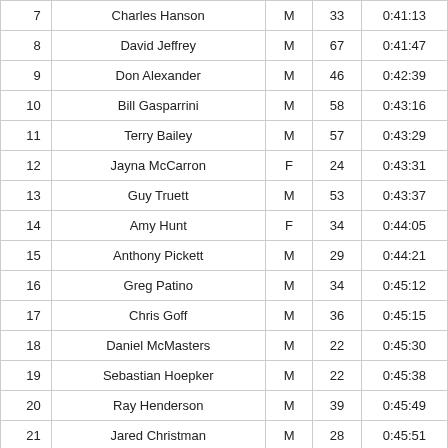|  | Name | Gender | Age | Time |
| --- | --- | --- | --- | --- |
| 7 | Charles Hanson | M | 33 | 0:41:13 |
| 8 | David Jeffrey | M | 67 | 0:41:47 |
| 9 | Don Alexander | M | 46 | 0:42:39 |
| 10 | Bill Gasparrini | M | 58 | 0:43:16 |
| 11 | Terry Bailey | M | 57 | 0:43:29 |
| 12 | Jayna McCarron | F | 24 | 0:43:31 |
| 13 | Guy Truett | M | 53 | 0:43:37 |
| 14 | Amy Hunt | F | 34 | 0:44:05 |
| 15 | Anthony Pickett | M | 29 | 0:44:21 |
| 16 | Greg Patino | M | 34 | 0:45:12 |
| 17 | Chris Goff | M | 36 | 0:45:15 |
| 18 | Daniel McMasters | M | 22 | 0:45:30 |
| 19 | Sebastian Hoepker | M | 22 | 0:45:38 |
| 20 | Ray Henderson | M | 39 | 0:45:49 |
| 21 | Jared Christman | M | 28 | 0:45:51 |
| 22 | Andrea Patino | F | 33 | 0:45:52 |
| 23 | Ty Watters | M | 33 | 0:45:59 |
| 24 | Phillip Wedgeworth | M | 58 | 0:45:59 |
| 25 | Megan Davis | F | 25 | 0:46:00 |
| 26 | Jacqueline Sasaki | F | 36 | 0:46:04 |